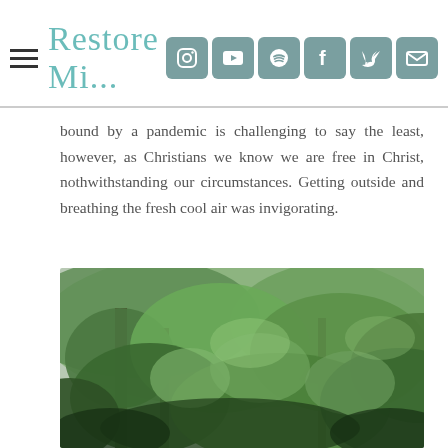Restore Mi...
bound by a pandemic is challenging to say the least,  however, as  Christians we know we are free in Christ, nothwithstanding our circumstances.  Getting outside and breathing the fresh cool air was invigorating.
[Figure (photo): Dense green forest with trees and lush foliage, photographed outdoors during daylight.]